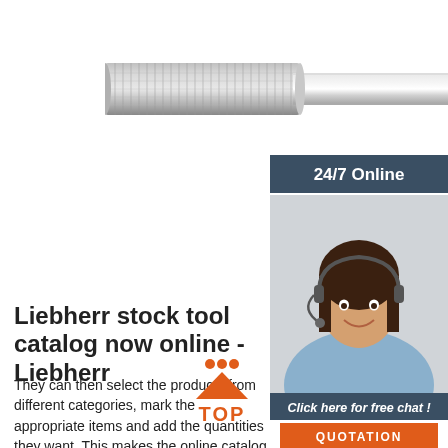[Figure (photo): A carbide end mill / rotary burr cutting tool shown horizontally, silver metallic, with textured cutting flutes on the left portion and a smooth shank on the right.]
[Figure (photo): Customer service representative, a woman with dark hair wearing a headset, smiling, with a dark blue-gray banner overlay reading '24/7 Online' and a 'Click here for free chat!' panel with a QUOTATION button.]
Liebherr stock tool catalog now online - Liebherr
They can then select the products from different categories, mark the appropriate items and add the quantities they want. This makes the online catalog a quick and easy way to find the right gear cutting tool. Sales contact, Haider Arroum, Team
[Figure (logo): Orange triangle/arrow pointing upward with three orange dots above it, and the word TOP in orange bold text below — a 'back to top' logo.]